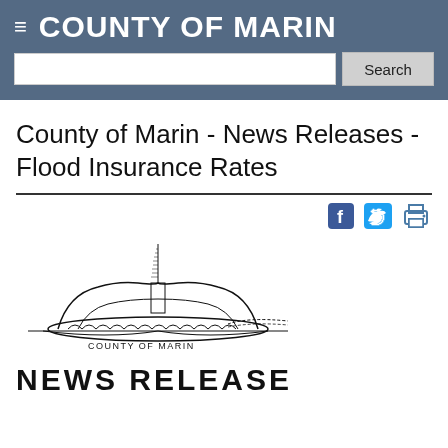COUNTY OF MARIN
County of Marin - News Releases - Flood Insurance Rates
[Figure (logo): County of Marin official seal/logo with courthouse dome and tower illustration, text reading COUNTY OF MARIN below]
NEWS RELEASE